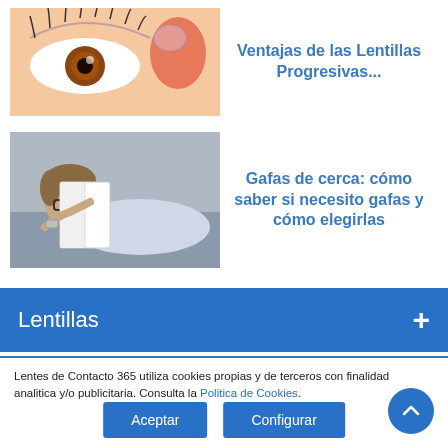[Figure (photo): Close-up of a human eye with a contact lens being placed on a fingertip]
Ventajas de las Lentillas Progresivas...
[Figure (photo): Man reading a book while lying down, wearing glasses]
Gafas de cerca: cómo saber si necesito gafas y cómo elegirlas
Lentillas
Lentes de Contacto 365 utiliza cookies propias y de terceros con finalidad analitica y/o publicitaria. Consulta la Política de Cookies.